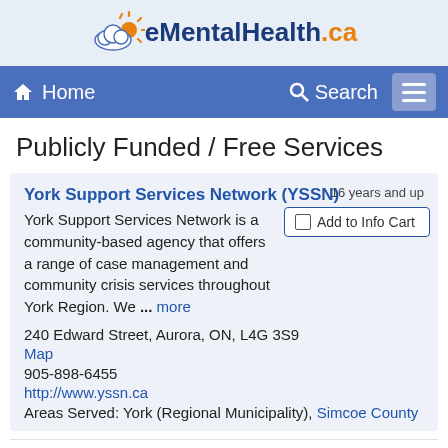eMentalHealth.ca
Home   Search
Publicly Funded / Free Services
York Support Services Network (YSSN)
16 years and up
Add to Info Cart
York Support Services Network is a community-based agency that offers a range of case management and community crisis services throughout York Region. We ... more
240 Edward Street, Aurora, ON, L4G 3S9
Map
905-898-6455
http://www.yssn.ca
Areas Served: York (Regional Municipality), Simcoe County